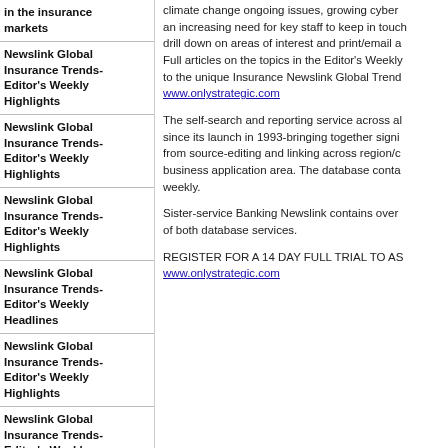in the insurance markets
Newslink Global Insurance Trends- Editor's Weekly Highlights
Newslink Global Insurance Trends- Editor's Weekly Highlights
Newslink Global Insurance Trends- Editor's Weekly Highlights
Newslink Global Insurance Trends- Editor's Weekly Headlines
Newslink Global Insurance Trends- Editor's Weekly Highlights
Newslink Global Insurance Trends- Editor's Weekly Highlights
climate change ongoing issues, growing cyber an increasing need for key staff to keep in touch drill down on areas of interest and print/email a Full articles on the topics in the Editor's Weekly to the unique Insurance Newslink Global Trend www.onlystrategic.com
The self-search and reporting service across al since its launch in 1993-bringing together signi from source-editing and linking across region/c business application area. The database conta weekly.
Sister-service Banking Newslink contains over of both database services.
REGISTER FOR A 14 DAY FULL TRIAL TO AS www.onlystrategic.com